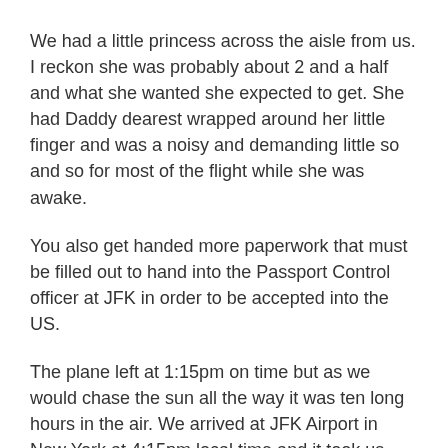We had a little princess across the aisle from us. I reckon she was probably about 2 and a half and what she wanted she expected to get. She had Daddy dearest wrapped around her little finger and was a noisy and demanding little so and so for most of the flight while she was awake.
You also get handed more paperwork that must be filled out to hand into the Passport Control officer at JFK in order to be accepted into the US.
The plane left at 1:15pm on time but as we would chase the sun all the way it was ten long hours in the air. We arrived at JFK Airport in New York at 4:15pm local time and it took us another 2 hours to clear customs, collect luggage, register for our transfer, get collected and wait for other arrivals before being transported to our hotel.
To clear customs you are herded towards the debarkation